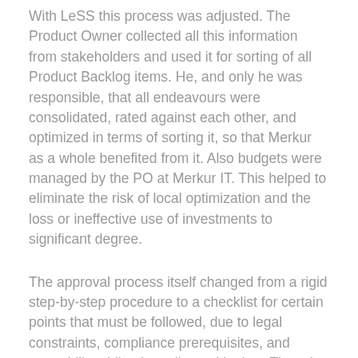With LeSS this process was adjusted. The Product Owner collected all this information from stakeholders and used it for sorting of all Product Backlog items. He, and only he was responsible, that all endeavours were consolidated, rated against each other, and optimized in terms of sorting it, so that Merkur as a whole benefited from it. Also budgets were managed by the PO at Merkur IT. This helped to eliminate the risk of local optimization and the loss or ineffective use of investments to significant degree.
The approval process itself changed from a rigid step-by-step procedure to a checklist for certain points that must be followed, due to legal constraints, compliance prerequisites, and traceability obligations dictated by law. The role of the “Project Manager” changed to the role of the client inside the organization.